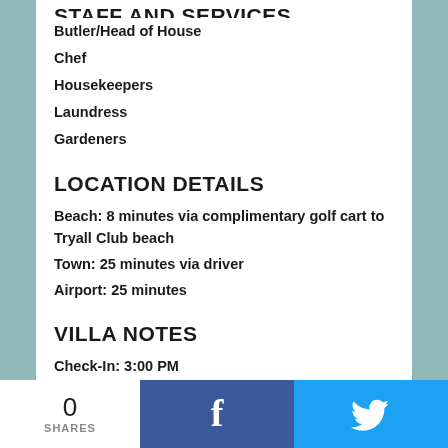STAFF AND SERVICES
Butler/Head of House
Chef
Housekeepers
Laundress
Gardeners
LOCATION DETAILS
Beach: 8 minutes via complimentary golf cart to Tryall Club beach
Town: 25 minutes via driver
Airport: 25 minutes
VILLA NOTES
Check-In: 3:00 PM
Check-Out: 12:00 PM
A significant amenity for guests in this villa is membership at the excellent Tryall Club. On 2,200
0 SHARES